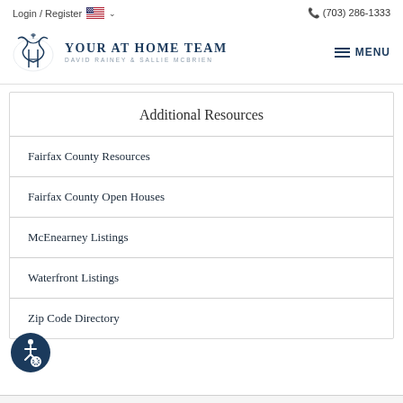Login / Register   🇺🇸 ∨   (703) 286-1333
[Figure (logo): Your At Home Team logo — decorative script mark with text 'YOUR AT HOME TEAM' and 'DAVID RAINEY & SALLIE MCBRIEN']
Additional Resources
Fairfax County Resources
Fairfax County Open Houses
McEnearney Listings
Waterfront Listings
Zip Code Directory